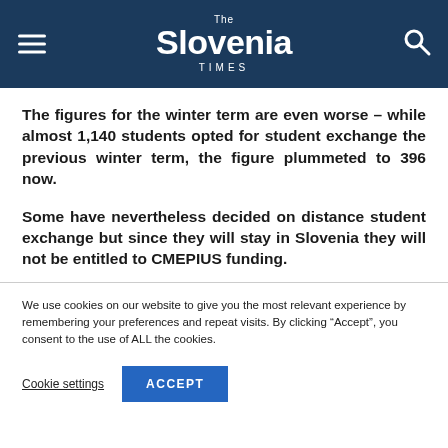The Slovenia Times
The figures for the winter term are even worse – while almost 1,140 students opted for student exchange the previous winter term, the figure plummeted to 396 now.
Some have nevertheless decided on distance student exchange but since they will stay in Slovenia they will not be entitled to CMEPIUS funding.
We use cookies on our website to give you the most relevant experience by remembering your preferences and repeat visits. By clicking "Accept", you consent to the use of ALL the cookies.
Cookie settings
ACCEPT